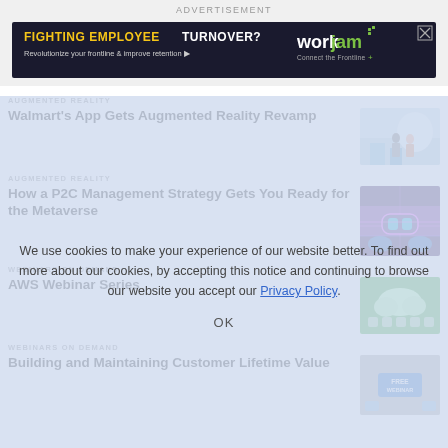ADVERTISEMENT
[Figure (illustration): WorkJam advertisement banner: 'FIGHTING EMPLOYEE TURNOVER? Revolutionize your frontline & improve retention' with WorkJam logo on dark background]
AUGMENTED REALITY
Walmart's App Gets Augmented Reality Revamp
[Figure (photo): Two people standing in a modern office/retail space with blue chairs]
AUGMENTED REALITY
How a P2C Management Strategy Gets You Ready for the Metaverse
[Figure (photo): Futuristic metaverse scene with blue/purple neon colors and VR elements]
WEBINARS ON DEMAND
AWS Webinar Series
[Figure (illustration): Green-themed cloud/AWS technology illustration]
WEBINARS ON DEMAND
Building and Maintaining Customer Lifetime Value
[Figure (photo): Free webinar promotional image with analytics icons]
We use cookies to make your experience of our website better. To find out more about our cookies, by accepting this notice and continuing to browse our website you accept our Privacy Policy.
OK